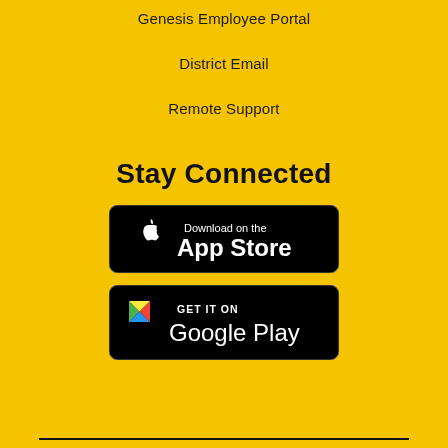Genesis Employee Portal
District Email
Remote Support
Stay Connected
[Figure (logo): Download on the App Store badge - black rounded rectangle with Apple logo and text 'Download on the App Store']
[Figure (logo): Get it on Google Play badge - black rounded rectangle with Google Play triangle logo and text 'GET IT ON Google Play']